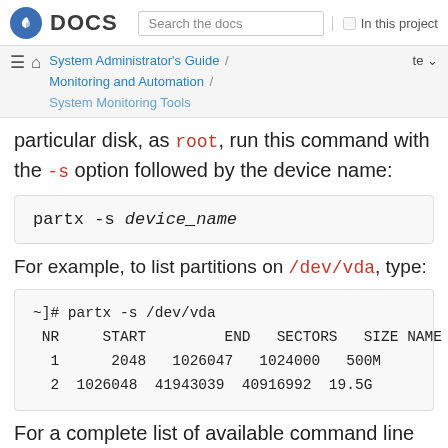Fedora DOCS | Search the docs | In this project
System Administrator's Guide / Monitoring and Automation / System Monitoring Tools
particular disk, as root, run this command with the -s option followed by the device name:
For example, to list partitions on /dev/vda, type:
| NR | START | END | SECTORS | SIZE | NAME |
| --- | --- | --- | --- | --- | --- |
| 1 | 2048 | 1026047 | 1024000 | 500M |  |
| 2 | 1026048 | 41943039 | 40916992 | 19.5G |  |
For a complete list of available command line